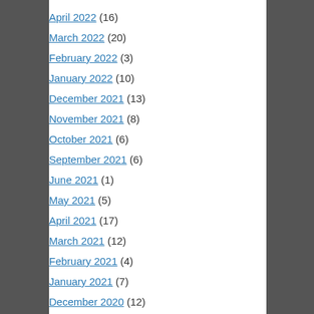April 2022 (16)
March 2022 (20)
February 2022 (3)
January 2022 (10)
December 2021 (13)
November 2021 (8)
October 2021 (6)
September 2021 (6)
June 2021 (1)
May 2021 (5)
April 2021 (17)
March 2021 (12)
February 2021 (4)
January 2021 (7)
December 2020 (12)
November 2020 (6)